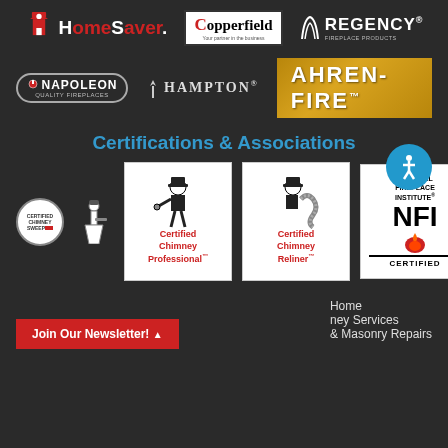[Figure (logo): HomeSaver brand logo with red firefighter icon]
[Figure (logo): Copperfield logo in white box with tagline]
[Figure (logo): Regency Fireplace Products logo]
[Figure (logo): Napoleon Quality Fireplaces logo in oval badge]
[Figure (logo): Hampton brand logo]
[Figure (logo): Ahren-Fire logo on gold background]
Certifications & Associations
[Figure (logo): Certified Chimney Sweep circular badge]
[Figure (logo): Small chimney figure badge]
[Figure (logo): Certified Chimney Professional card badge]
[Figure (logo): Certified Chimney Reliner card badge]
[Figure (logo): NFI National Fireplace Institute Certified badge]
Home
ney Services
& Masonry Repairs
Join Our Newsletter!